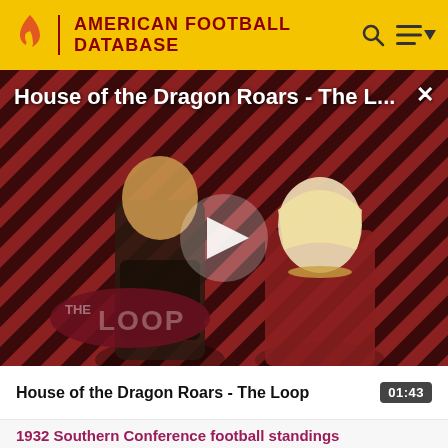AMERICAN FOOTBALL DATABASE
[Figure (screenshot): Video player showing 'House of the Dragon Roars - The L...' with play button overlay, diagonal red and dark stripe pattern background, two characters visible, 'THE LOOP' watermark logo at bottom left, close X button at top right.]
House of the Dragon Roars - The Loop
01:43
1932 Southern Conference football standings